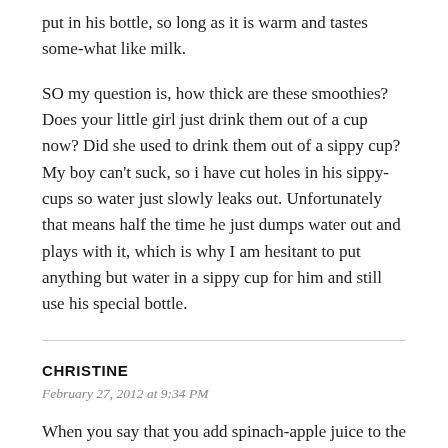put in his bottle, so long as it is warm and tastes some-what like milk.
SO my question is, how thick are these smoothies? Does your little girl just drink them out of a cup now? Did she used to drink them out of a sippy cup? My boy can't suck, so i have cut holes in his sippy-cups so water just slowly leaks out. Unfortunately that means half the time he just dumps water out and plays with it, which is why I am hesitant to put anything but water in a sippy cup for him and still use his special bottle.
CHRISTINE
February 27, 2012 at 9:34 PM
When you say that you add spinach-apple juice to the smoothie, are you talking about a juice you make at home, or something store bought. If you make it, how much spinach and apple are we talking? I have a juicer and would love to use it again. I have only used it